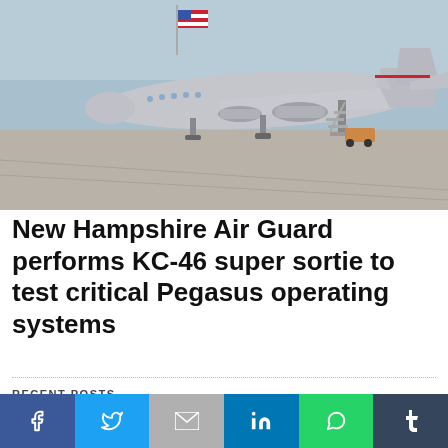[Figure (photo): A large military KC-46 Pegasus aircraft parked on a tarmac with an American flag visible in the background and boarding stairs attached.]
New Hampshire Air Guard performs KC-46 super sortie to test critical Pegasus operating systems
RECENT POSTS
[Figure (screenshot): Advertisement banner: Rotita Tops - Trendy Tops For Women | with OPEN button]
[Figure (infographic): Social sharing bar with icons for Facebook, Twitter, Gmail, LinkedIn, WhatsApp, and Tumblr]